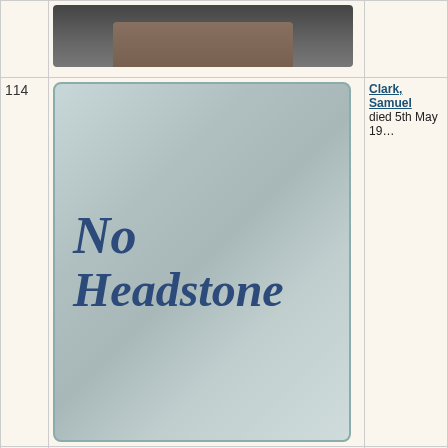| # | Image | Info |
| --- | --- | --- |
|  | [gravestone photo - partial top] |  |
| 114 | No Headstone | Clark, Samuel
died 5th May 19... |
| 115 | [gravestone photo - Agnes Clark and William Clark] | Clark, William Th...
(nee Sinclair)
Buried Witta Cer... |
| 116 | [gravestone photo - partial] | Clifford, 200...
Interred 21st Se... |